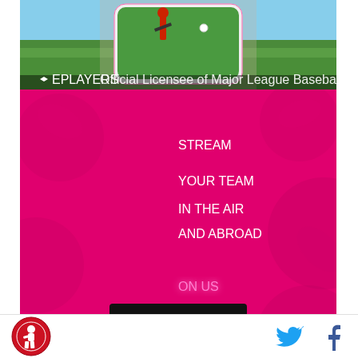[Figure (photo): Hands holding a smartphone showing a baseball player batting, with MLB game streaming on screen. Players logo and licensing text at bottom of image.]
STREAM YOUR TEAM IN THE AIR AND ABROAD ON US
Learn more
Connectivity included in qualifying plans. In-flight wifi where available on select U.S. airlines. Up to 5GB high-speed data available in select countries & destinations. Separate streaming subscription may be required. See details.
POWERED BY CONCERT   FEEDBACK
[Figure (logo): Baseball team logo (circular badge with player illustration) on the left, Twitter bird icon and Facebook f icon on the right]